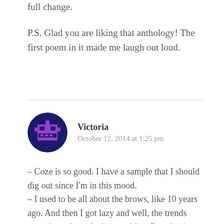full change.
P.S. Glad you are liking that anthology! The first poem in it made me laugh out loud.
Victoria
October 12, 2014 at 1:25 pm
– Coze is so good. I have a sample that I should dig out since I'm in this mood.
– I used to be all about the brows, like 10 years ago. And then I got lazy and well, the trends weren't so about the brows either. But, they're back. And they do make a huge difference. AND